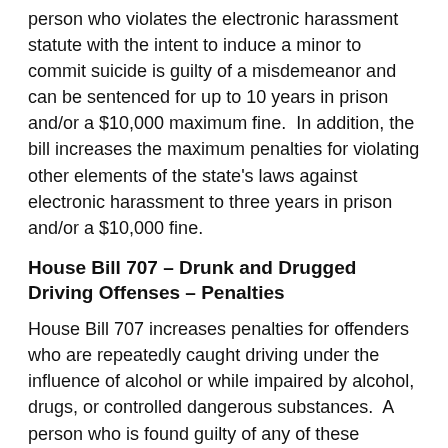person who violates the electronic harassment statute with the intent to induce a minor to commit suicide is guilty of a misdemeanor and can be sentenced for up to 10 years in prison and/or a $10,000 maximum fine.  In addition, the bill increases the maximum penalties for violating other elements of the state's laws against electronic harassment to three years in prison and/or a $10,000 fine.
House Bill 707 – Drunk and Drugged Driving Offenses – Penalties
House Bill 707 increases penalties for offenders who are repeatedly caught driving under the influence of alcohol or while impaired by alcohol, drugs, or controlled dangerous substances.  A person who is found guilty of any of these offenses for the third time can be sentenced to a maximum of five years in prison and/or a $5,000 fine.  A person who is found guilty of any of